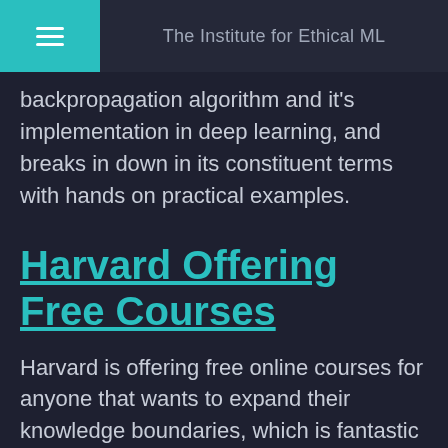The Institute for Ethical ML
backpropagation algorithm and it's implementation in deep learning, and breaks in down in its constituent terms with hands on practical examples.
Harvard Offering Free Courses
Harvard is offering free online courses for anyone that wants to expand their knowledge boundaries, which is fantastic as they are accessible for free. These courses cover a broad range of topics in computer